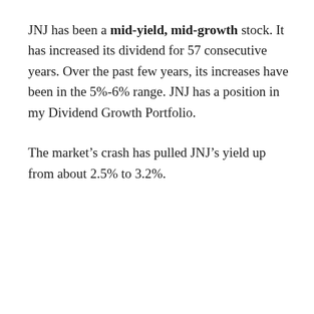JNJ has been a mid-yield, mid-growth stock. It has increased its dividend for 57 consecutive years. Over the past few years, its increases have been in the 5%-6% range. JNJ has a position in my Dividend Growth Portfolio.
The market's crash has pulled JNJ's yield up from about 2.5% to 3.2%.